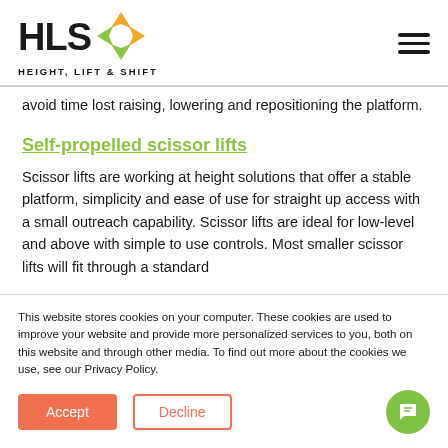[Figure (logo): HLS Height, Lift & Shift logo with diamond/arrow icon in orange and green]
avoid time lost raising, lowering and repositioning the platform.
Self-propelled scissor lifts
Scissor lifts are working at height solutions that offer a stable platform, simplicity and ease of use for straight up access with a small outreach capability. Scissor lifts are ideal for low-level and above with simple to use controls. Most smaller scissor lifts will fit through a standard
This website stores cookies on your computer. These cookies are used to improve your website and provide more personalized services to you, both on this website and through other media. To find out more about the cookies we use, see our Privacy Policy.